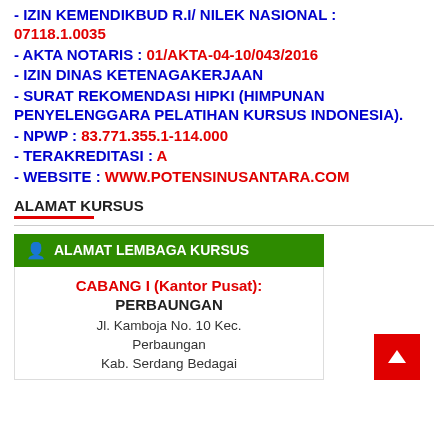- IZIN KEMENDIKBUD R.I/ NILEK NASIONAL : 07118.1.0035
- AKTA NOTARIS : 01/AKTA-04-10/043/2016
- IZIN DINAS KETENAGAKERJAAN
- SURAT REKOMENDASI HIPKI (HIMPUNAN PENYELENGGARA PELATIHAN KURSUS INDONESIA).
- NPWP : 83.771.355.1-114.000
- TERAKREDITASI : A
- WEBSITE : WWW.POTENSINUSANTARA.COM
ALAMAT KURSUS
[Figure (infographic): Green header bar with person icon and text 'ALAMAT LEMBAGA KURSUS', followed by a card showing CABANG I (Kantor Pusat): PERBAUNGAN, Jl. Kamboja No. 10 Kec. Perbaungan, Kab. Serdang Bedagai]
[Figure (other): Red back-to-top button with white upward arrow, positioned bottom right]